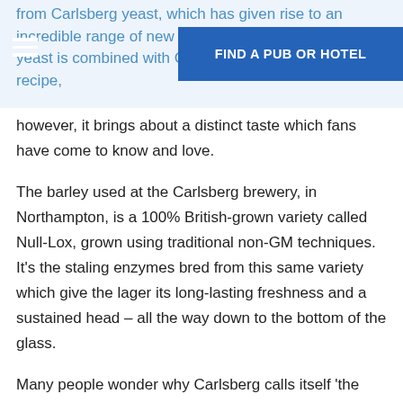from Carlsberg yeast, which has given rise to an incredible range of new yeast is combined with Carlsberg's unique all-malt recipe,
however, it brings about a distinct taste which fans have come to know and love.
The barley used at the Carlsberg brewery, in Northampton, is a 100% British-grown variety called Null-Lox, grown using traditional non-GM techniques. It's the staling enzymes bred from this same variety which give the lager its long-lasting freshness and a sustained head – all the way down to the bottom of the glass.
Many people wonder why Carlsberg calls itself 'the best beer in the world', but it really is quite simple. The beer